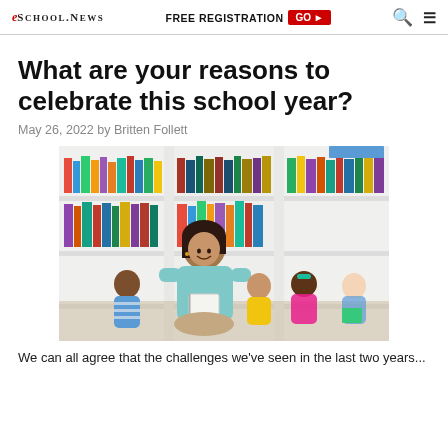eSchool News | FREE REGISTRATION GO ▶
What are your reasons to celebrate this school year?
May 26, 2022 by Britten Follett
[Figure (photo): A smiling female teacher holding a book sits facing a group of children in a school library with colorful bookshelves in the background.]
We can all agree that the challenges we've seen in the last two years...